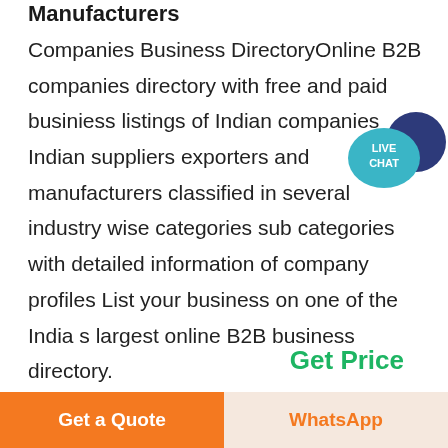Manufacturers
Companies Business DirectoryOnline B2B companies directory with free and paid businiess listings of Indian companies Indian suppliers exporters and manufacturers classified in several industry wise categories sub categories with detailed information of company profiles List your business on one of the India s largest online B2B business directory.
[Figure (illustration): Live Chat speech bubble badge with teal and dark blue circles]
Get Price
[Figure (photo): Industrial structure photo showing metal framework and pipes against blue sky]